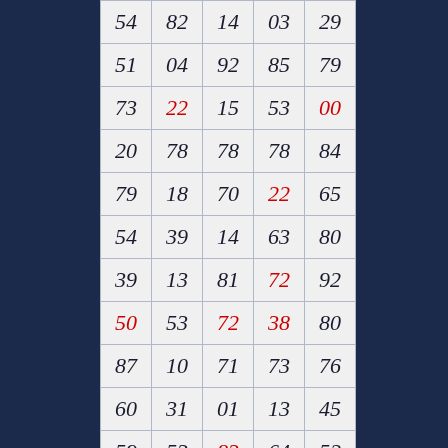| 54 | 82 | 14 | 03 | 29 |
| 51 | 04 | 92 | 85 | 79 |
| 73 | 22 | 15 | 53 | 00 |
| 20 | 78 | 78 | 78 | 84 |
| 79 | 18 | 70 | 22 | 65 |
| 54 | 39 | 14 | 63 | 80 |
| 39 | 13 | 81 | 72 | 92 |
| 50 | 53 | 72 | 38 | 80 |
| 87 | 10 | 71 | 73 | 76 |
| 60 | 31 | 01 | 13 | 45 |
| 59 | 53 | 83 | 64 | 52 |